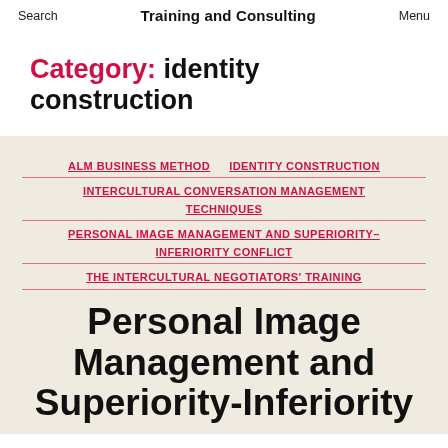Search   Training and Consulting   Menu
Category: identity construction
ALM BUSINESS METHOD
IDENTITY CONSTRUCTION
INTERCULTURAL CONVERSATION MANAGEMENT TECHNIQUES
PERSONAL IMAGE MANAGEMENT AND SUPERIORITY-INFERIORITY CONFLICT
THE INTERCULTURAL NEGOTIATORS' TRAINING
Personal Image Management and Superiority-Inferiority